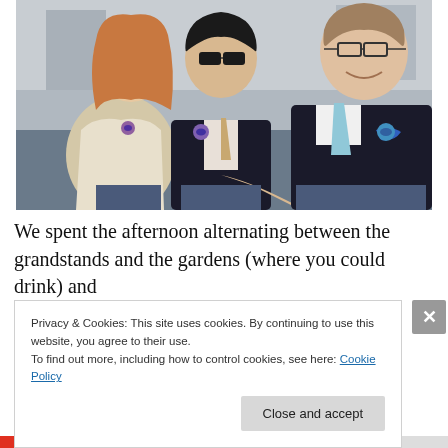[Figure (photo): Three young people sitting together outdoors, dressed formally. A woman with long red hair on the left wearing a cream dress, a man in the center wearing sunglasses and a black suit with a tie, and a man on the right wearing glasses and a black suit with a light blue tie. All three are smiling and wearing small purple buttons/badges.]
We spent the afternoon alternating between the grandstands and the gardens (where you could drink) and
Privacy & Cookies: This site uses cookies. By continuing to use this website, you agree to their use.
To find out more, including how to control cookies, see here: Cookie Policy
Close and accept